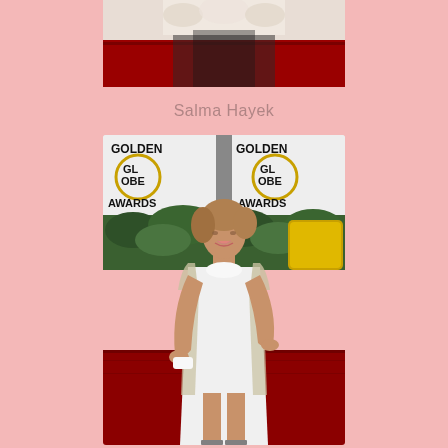[Figure (photo): Partial photo of a person at top of page, showing lower portion of an outfit against a red carpet background]
Salma Hayek
[Figure (photo): Woman in white knee-length dress with embellished silver trim on shoulders and sides, standing in front of Golden Globe Awards backdrop with red carpet]